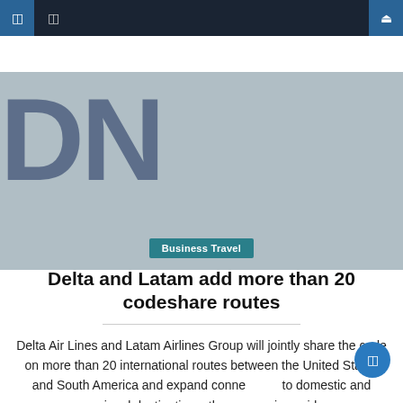Navigation bar with menu icons and search
[Figure (photo): Hero image showing partial large blue letters 'DN' on a light steel blue/gray background — appears to be a logo or masthead graphic]
Business Travel
Delta and Latam add more than 20 codeshare routes
Delta Air Lines and Latam Airlines Group will jointly share the code on more than 20 international routes between the United States and South America and expand connections to domestic and regional destinations, the companies said